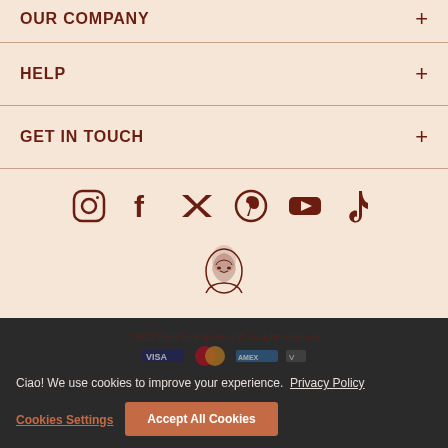OUR COMPANY
HELP
GET IN TOUCH
[Figure (other): Social media icons row: Instagram, Facebook, Twitter, Pinterest, YouTube, TikTok]
[Figure (logo): Pasta Evangelists logo with illustrated face and text PASTA EVANGELISTS]
© 2022 Pasta Evangelists Ltd. All rights reserved.
[Figure (other): Payment method icons: VISA, MasterCard, American Express, and others]
Ciao! We use cookies to improve your experience. Privacy Policy
Cookies Settings
Accept All Cookies